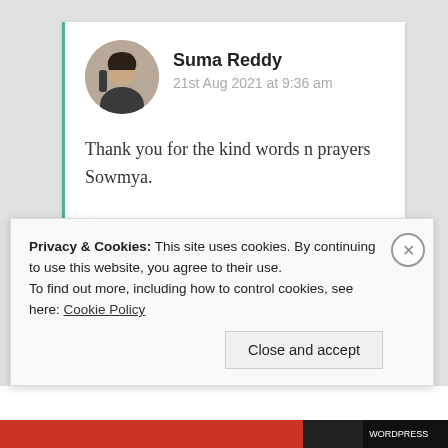Suma Reddy
21st Aug 2021 at 9:36 am
Thank you for the kind words n prayers Sowmya.
★ Liked by 1 person
Log in to Reply
Privacy & Cookies: This site uses cookies. By continuing to use this website, you agree to their use.
To find out more, including how to control cookies, see here: Cookie Policy
Close and accept